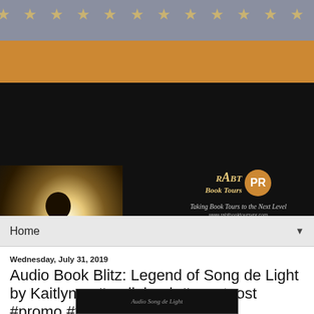[Figure (illustration): Stars decorative banner with gold stars on grey background at top of page]
[Figure (illustration): Orange/amber horizontal band below stars banner]
[Figure (illustration): Black header banner with woman reading a glowing book on left, RABT Book Tours and PR logo on right with tagline 'Taking Book Tours to the Next Level' and website url]
Home ▼
Wednesday, July 31, 2019
Audio Book Blitz: Legend of Song de Light by Kaitlynzq #audiobook #guestpost #promo #fiction #lovecontusongdelightlovecontu #kaitlynzq
[Figure (photo): Bottom strip showing partial book cover image]